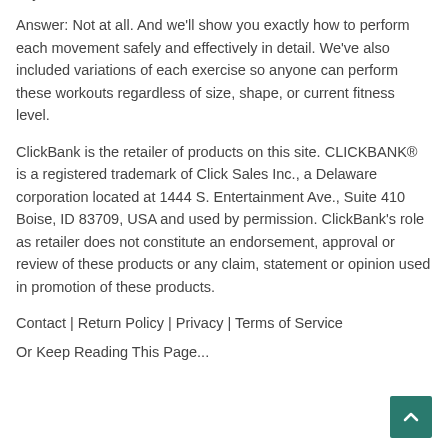days.
Answer: Not at all. And we'll show you exactly how to perform each movement safely and effectively in detail. We've also included variations of each exercise so anyone can perform these workouts regardless of size, shape, or current fitness level.
ClickBank is the retailer of products on this site. CLICKBANK® is a registered trademark of Click Sales Inc., a Delaware corporation located at 1444 S. Entertainment Ave., Suite 410 Boise, ID 83709, USA and used by permission. ClickBank's role as retailer does not constitute an endorsement, approval or review of these products or any claim, statement or opinion used in promotion of these products.
Contact | Return Policy | Privacy | Terms of Service
Or Keep Reading This Page...